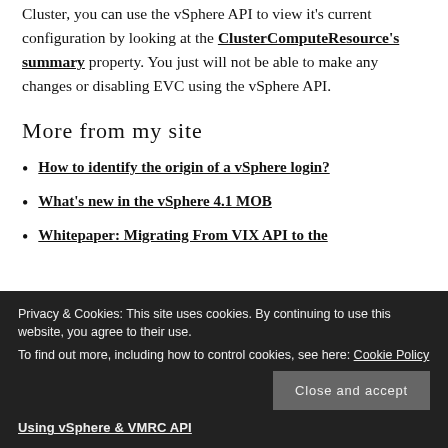Cluster, you can use the vSphere API to view it's current configuration by looking at the ClusterComputeResource's summary property. You just will not be able to make any changes or disabling EVC using the vSphere API.
More from my site
How to identify the origin of a vSphere login?
What's new in the vSphere 4.1 MOB
Whitepaper: Migrating From VIX API to the vSphere Guest Operations API
Using vSphere & VMRC API
Privacy & Cookies: This site uses cookies. By continuing to use this website, you agree to their use. To find out more, including how to control cookies, see here: Cookie Policy
Close and accept